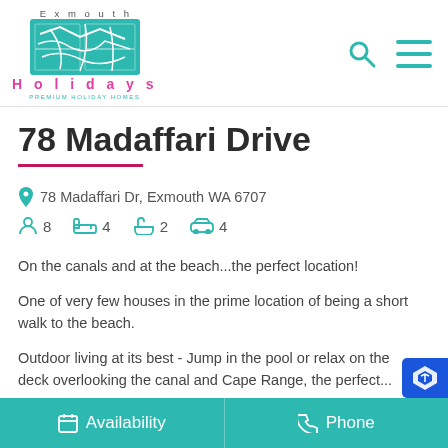Exmouth Holidays — logo and navigation
78 Madaffari Drive
78 Madaffari Dr, Exmouth WA 6707
8 guests  4 bedrooms  2 bathrooms  4 parking
On the canals and at the beach...the perfect location!
One of very few houses in the prime location of being a short walk to the beach.
Outdoor living at its best - Jump in the pool or relax on the deck overlooking the canal and Cape Range, the perfect...
Availability   Phone